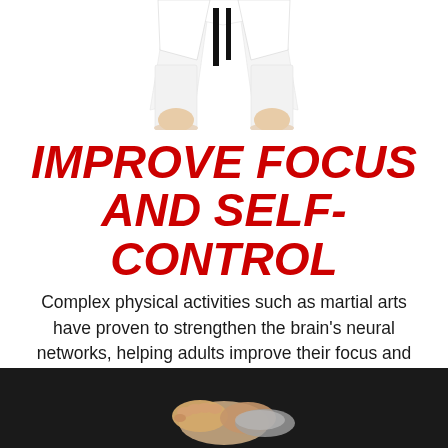[Figure (photo): Partial view of a martial artist in white gi with black belt, showing lower torso and legs in a stance position, on white background]
IMPROVE FOCUS AND SELF-CONTROL
Complex physical activities such as martial arts have proven to strengthen the brain's neural networks, helping adults improve their focus and reduce stress levels. This can be a great deterrent against depression and other mental health issues.
[Figure (photo): Partial view of a martial artist in dark background, showing hands/feet in a grappling or technique position]